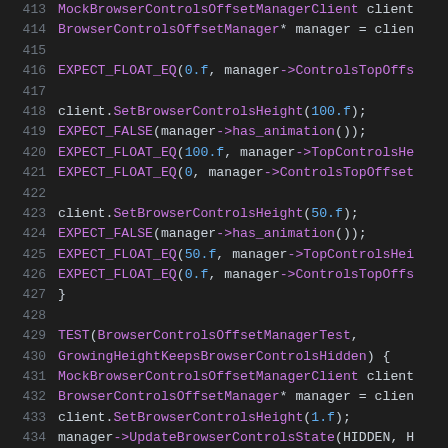[Figure (screenshot): Source code snippet showing C++ unit test code for BrowserControlsOffsetManager, lines 413-434, with syntax highlighting on a dark background. Purple for types/macros/functions, blue for numeric literals, light gray for plain code.]